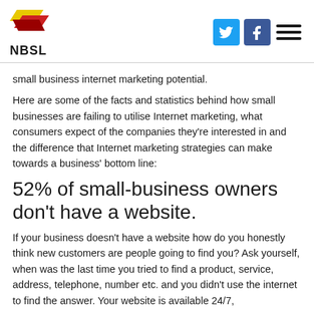NBSL
small business internet marketing potential.
Here are some of the facts and statistics behind how small businesses are failing to utilise Internet marketing, what consumers expect of the companies they're interested in and the difference that Internet marketing strategies can make towards a business' bottom line:
52% of small-business owners don't have a website.
If your business doesn't have a website how do you honestly think new customers are people going to find you? Ask yourself, when was the last time you tried to find a product, service, address, telephone, number etc. and you didn't use the internet to find the answer. Your website is available 24/7,